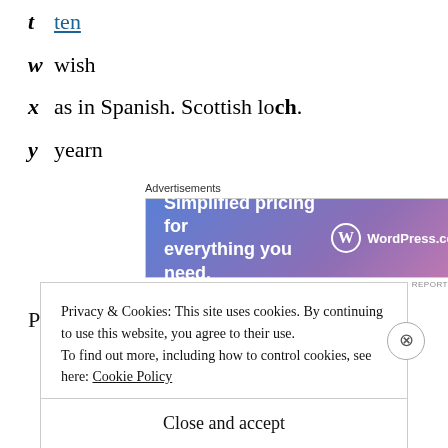t ten
w wish
x as in Spanish. Scottish loch.
y yearn
[Figure (other): WordPress.com advertisement banner with text 'Simplified pricing for everything you need.']
Prenasalized: mb, nj, nc, ng, nk, nx
Privacy & Cookies: This site uses cookies. By continuing to use this website, you agree to their use. To find out more, including how to control cookies, see here: Cookie Policy
Close and accept